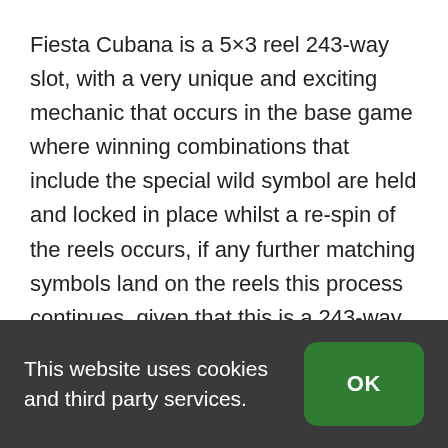Fiesta Cubana is a 5×3 reel 243-way slot, with a very unique and exciting mechanic that occurs in the base game where winning combinations that include the special wild symbol are held and locked in place whilst a re-spin of the reels occurs, if any further matching symbols land on the reels this process continues, given that this is a 243-way slot, landing lots of the same symbols can quickly lead to some big wins and plenty of excitement as you hope for further
This website uses cookies and third party services.
OK